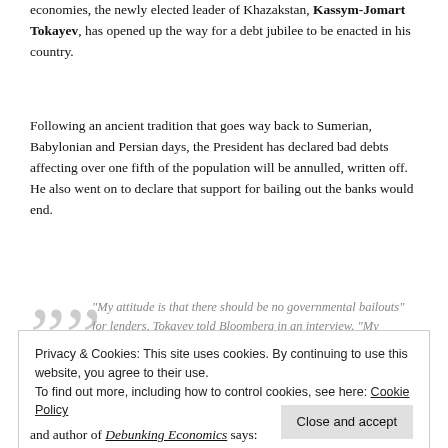economies, the newly elected leader of Khazakstan, Kassym-Jomart Tokayev, has opened up the way for a debt jubilee to be enacted in his country.
Following an ancient tradition that goes way back to Sumerian, Babylonian and Persian days, the President has declared bad debts affecting over one fifth of the population will be annulled, written off. He also went on to declare that support for bailing out the banks would end.
"My attitude is that there should be no governmental bailouts" for lenders, Tokayev told Bloomberg in an interview. "My assessment of this issue as a president is that the government should not get involved any more, any longer, with its loans as far as private banks are concerned."
Privacy & Cookies: This site uses cookies. By continuing to use this website, you agree to their use.
To find out more, including how to control cookies, see here: Cookie Policy
and author of Debunking Economics says: